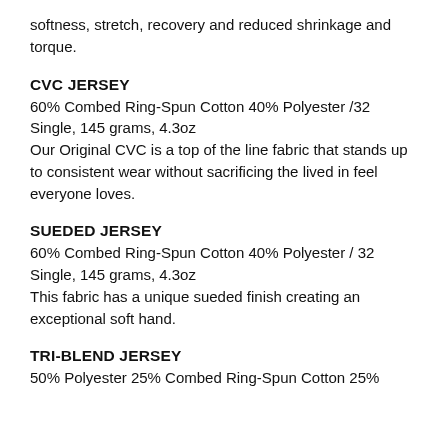softness, stretch, recovery and reduced shrinkage and torque.
CVC JERSEY
60% Combed Ring-Spun Cotton 40% Polyester /32 Single, 145 grams, 4.3oz
Our Original CVC is a top of the line fabric that stands up to consistent wear without sacrificing the lived in feel everyone loves.
SUEDED JERSEY
60% Combed Ring-Spun Cotton 40% Polyester / 32 Single, 145 grams, 4.3oz
This fabric has a unique sueded finish creating an exceptional soft hand.
TRI-BLEND JERSEY
50% Polyester 25% Combed Ring-Spun Cotton 25%